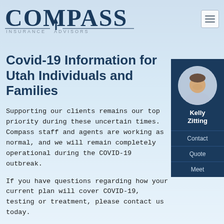[Figure (logo): Compass Insurance Advisors logo with compass needle graphic]
[Figure (photo): Hamburger menu icon (three horizontal lines in a square border)]
[Figure (photo): Sidebar card with photo of Kelly Zitting, with Contact, Quote, and Meet links]
Covid-19 Information for Utah Individuals and Families
Supporting our clients remains our top priority during these uncertain times. Compass staff and agents are working as normal, and we will remain completely operational during the COVID-19 outbreak.
If you have questions regarding how your current plan will cover COVID-19, testing or treatment, please contact us today.